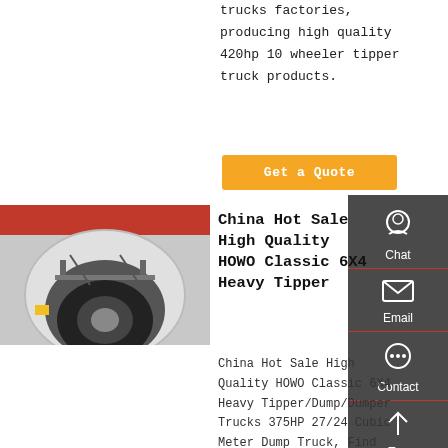trucks factories, producing high quality 420hp 10 wheeler tipper truck products.
Get a Quote
[Figure (photo): Close-up photo of a truck wheel arch showing tire, suspension components, and undercarriage. Red and white truck body visible.]
China Hot Sale High Quality HOWO Classic 6X4 Heavy Tipper
China Hot Sale High Quality HOWO Classic 6X4 Heavy Tipper/Dump/Dumper Trucks 375HP 27/24 Cubic Meter Dump Truck, Find